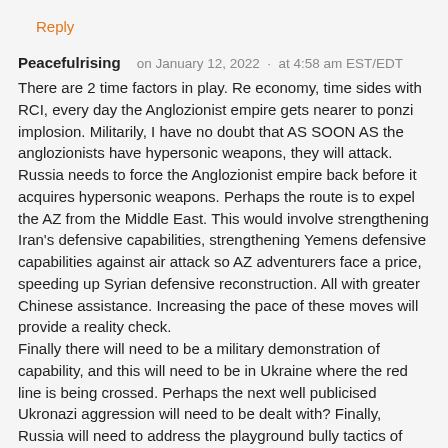Reply
Peacefulrising    on January 12, 2022  ·  at 4:58 am EST/EDT
There are 2 time factors in play. Re economy, time sides with RCI, every day the Anglozionist empire gets nearer to ponzi implosion. Militarily, I have no doubt that AS SOON AS the anglozionists have hypersonic weapons, they will attack. Russia needs to force the Anglozionist empire back before it acquires hypersonic weapons. Perhaps the route is to expel the AZ from the Middle East. This would involve strengthening Iran's defensive capabilities, strengthening Yemens defensive capabilities against air attack so AZ adventurers face a price, speeding up Syrian defensive reconstruction. All with greater Chinese assistance. Increasing the pace of these moves will provide a reality check.
Finally there will need to be a military demonstration of capability, and this will need to be in Ukraine where the red line is being crossed. Perhaps the next well publicised Ukronazi aggression will need to be dealt with? Finally, Russia will need to address the playground bully tactics of threatening immense consequences 'if